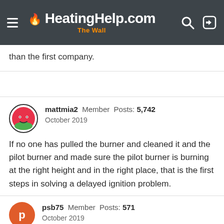HeatingHelp.com The Wall
than the first company.
mattmia2  Member  Posts: 5,742
October 2019

If no one has pulled the burner and cleaned it and the pilot burner and made sure the pilot burner is burning at the right height and in the right place, that is the first steps in solving a delayed ignition problem.
psb75  Member  Posts: 571
October 2019